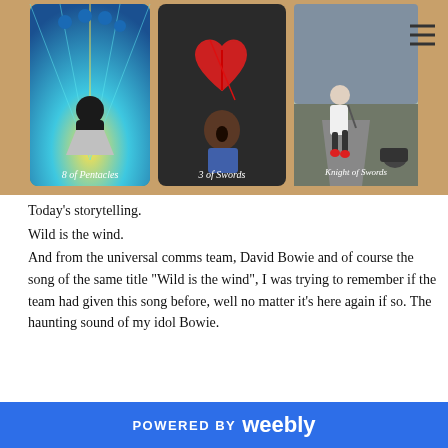[Figure (photo): Three tarot cards laid on a wooden surface: '8 of Pentacles' showing a woman from behind with colorful energy rays, '3 of Swords' showing a person screaming with a broken heart and swords, and 'Knight of Swords' showing a person running on a road with a motorcycle and weapon.]
Today's storytelling.
Wild is the wind.
And from the universal comms team, David Bowie and of course the song of the same title "Wild is the wind", I was trying to remember if the team had given this song before, well no matter it's here again if so. The haunting sound of my idol Bowie.
POWERED BY weebly